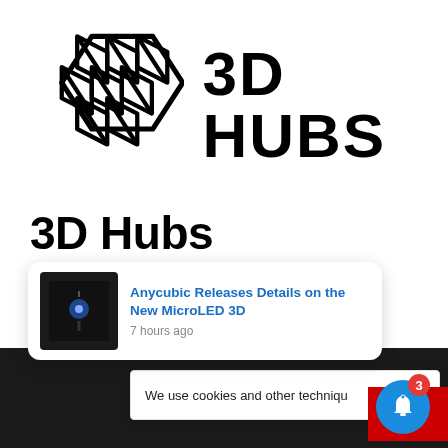[Figure (logo): 3D Hubs logo: geometric hexagonal lattice icon on the left, bold '3D HUBS' text on the right]
3D Hubs Completes The Circuit
Today Protolabs announced that they will acquire 3D H
[Figure (screenshot): Cookie consent banner overlay: 'We use cookies and other techniqu...' with X close button and red OK button]
[Figure (screenshot): Push notification popup: thumbnail of 3D printer, link 'Anycubic Releases Details on the New MicroLED 3D', timestamp '7 hours ago']
[Figure (infographic): Blue circular bell notification button with red badge showing '3']